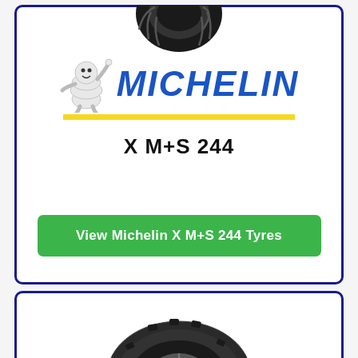[Figure (photo): Michelin tyre (top portion, partially cropped at top of card)]
[Figure (logo): Michelin Bibendum mascot and MICHELIN brand logo with yellow underline]
X M+S 244
View Michelin X M+S 244 Tyres
[Figure (photo): Michelin tyre photo in second card, showing tread pattern]